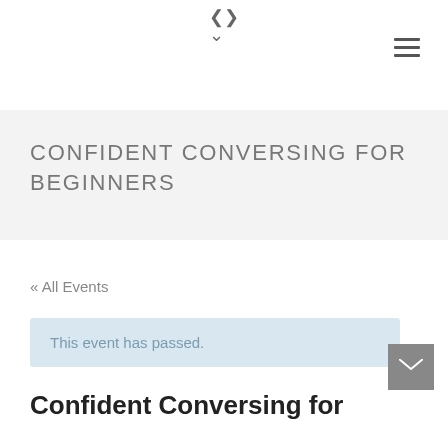▾
[Figure (other): Hamburger menu icon (three horizontal lines) in top-right corner]
CONFIDENT CONVERSING FOR BEGINNERS
« All Events
This event has passed.
Confident Conversing for